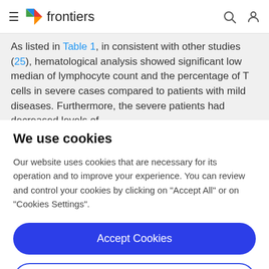frontiers
As listed in Table 1, in consistent with other studies (25), hematological analysis showed significant low median of lymphocyte count and the percentage of T cells in severe cases compared to patients with mild diseases. Furthermore, the severe patients had decreased levels of
We use cookies
Our website uses cookies that are necessary for its operation and to improve your experience. You can review and control your cookies by clicking on "Accept All" or on "Cookies Settings".
Accept Cookies
Cookies Settings